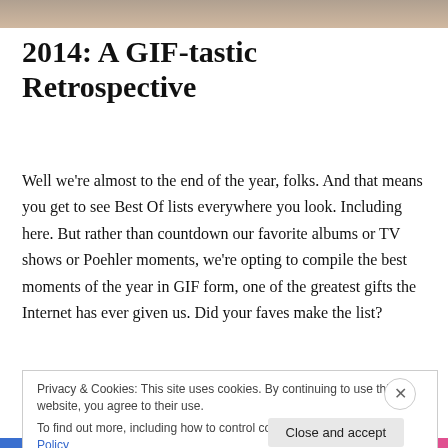[Figure (photo): Partial image strip at the top of the page showing a blurred/cropped photograph]
2014: A GIF-tastic Retrospective
Well we're almost to the end of the year, folks. And that means you get to see Best Of lists everywhere you look. Including here. But rather than countdown our favorite albums or TV shows or Poehler moments, we're opting to compile the best moments of the year in GIF form, one of the greatest gifts the Internet has ever given us. Did your faves make the list?
Privacy & Cookies: This site uses cookies. By continuing to use this website, you agree to their use.
To find out more, including how to control cookies, see here: Cookie Policy